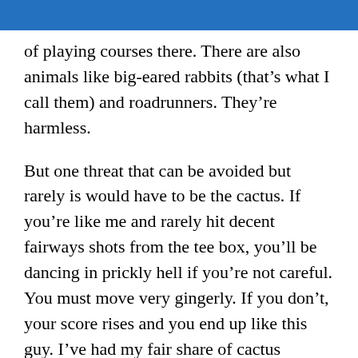of playing courses there. There are also animals like big-eared rabbits (that’s what I call them) and roadrunners. They’re harmless.
But one threat that can be avoided but rarely is would have to be the cactus. If you’re like me and rarely hit decent fairways shots from the tee box, you’ll be dancing in prickly hell if you’re not careful. You must move very gingerly. If you don’t, your score rises and you end up like this guy. I’ve had my fair share of cactus ‘pricks’  but NOTHING like this poor sap. Apparently this guy was playing golf near Scottsdale when he was trying to hit from the rough. After his shot, he fell backwards into